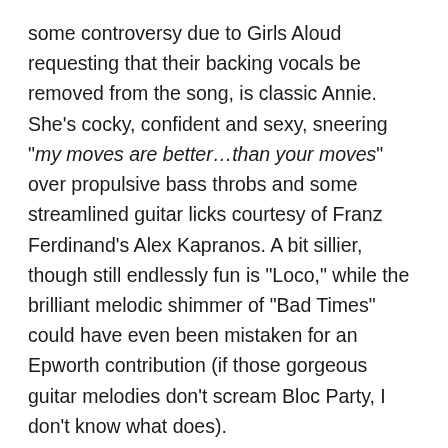some controversy due to Girls Aloud requesting that their backing vocals be removed from the song, is classic Annie. She's cocky, confident and sexy, sneering "my moves are better…than your moves" over propulsive bass throbs and some streamlined guitar licks courtesy of Franz Ferdinand's Alex Kapranos. A bit sillier, though still endlessly fun is "Loco," while the brilliant melodic shimmer of "Bad Times" could have even been mistaken for an Epworth contribution (if those gorgeous guitar melodies don't scream Bloc Party, I don't know what does).
Epworth, however, does manage to capture the best of Annie in his three tracks, starting off with album opener "Hey Annie." Not included on last year's leaked version, it's a gradual build of a song, laying down big, booming